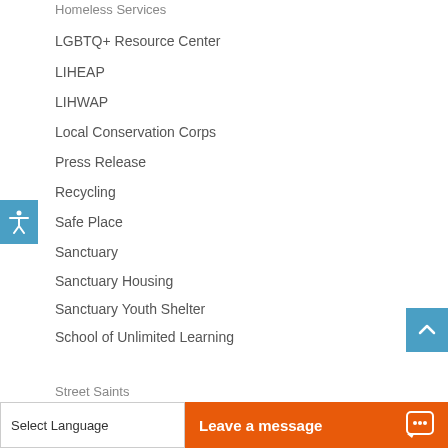Homeless Services
LGBTQ+ Resource Center
LIHEAP
LIHWAP
Local Conservation Corps
Press Release
Recycling
Safe Place
Sanctuary
Sanctuary Housing
Sanctuary Youth Shelter
School of Unlimited Learning
Street Saints
Select Language
Leave a message